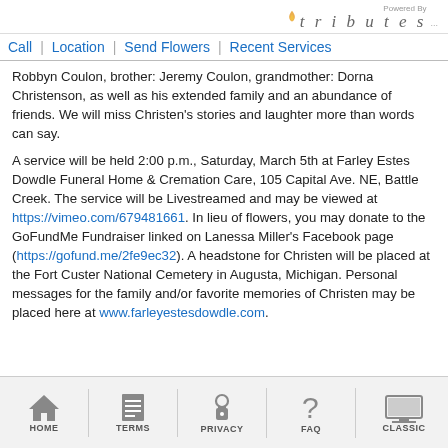Powered By tributes
Call | Location | Send Flowers | Recent Services
Robbyn Coulon, brother: Jeremy Coulon, grandmother: Dorna Christenson, as well as his extended family and an abundance of friends. We will miss Christen's stories and laughter more than words can say.
A service will be held 2:00 p.m., Saturday, March 5th at Farley Estes Dowdle Funeral Home & Cremation Care, 105 Capital Ave. NE, Battle Creek. The service will be Livestreamed and may be viewed at https://vimeo.com/679481661. In lieu of flowers, you may donate to the GoFundMe Fundraiser linked on Lanessa Miller's Facebook page (https://gofund.me/2fe9ec32). A headstone for Christen will be placed at the Fort Custer National Cemetery in Augusta, Michigan. Personal messages for the family and/or favorite memories of Christen may be placed here at www.farleyestesdowdle.com.
HOME | TERMS | PRIVACY | FAQ | CLASSIC